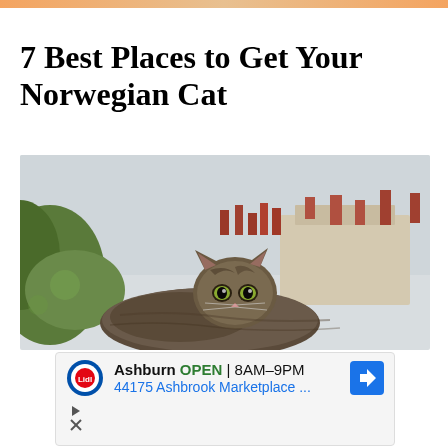7 Best Places to Get Your Norwegian Cat
[Figure (photo): A Norwegian Forest Cat with tabby markings and green eyes looking at the camera, crouched low, with blurred buildings and green foliage in the background.]
[Figure (other): Lidl advertisement banner showing store location in Ashburn, OPEN 8AM-9PM, address 44175 Ashbrook Marketplace, with Lidl logo and navigation arrow icon.]